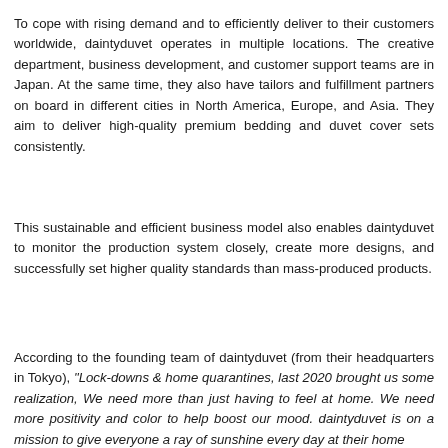To cope with rising demand and to efficiently deliver to their customers worldwide, daintyduvet operates in multiple locations. The creative department, business development, and customer support teams are in Japan. At the same time, they also have tailors and fulfillment partners on board in different cities in North America, Europe, and Asia. They aim to deliver high-quality premium bedding and duvet cover sets consistently.
This sustainable and efficient business model also enables daintyduvet to monitor the production system closely, create more designs, and successfully set higher quality standards than mass-produced products.
According to the founding team of daintyduvet (from their headquarters in Tokyo), "Lock-downs & home quarantines, last 2020 brought us some realization, We need more than just having to feel at home. We need more positivity and color to help boost our mood. daintyduvet is on a mission to give everyone a ray of sunshine every day at their home...